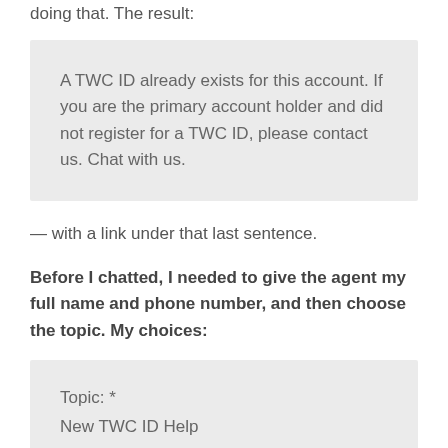doing that. The result:
A TWC ID already exists for this account. If you are the primary account holder and did not register for a TWC ID, please contact us. Chat with us.
— with a link under that last sentence.
Before I chatted, I needed to give the agent my full name and phone number, and then choose the topic. My choices:
Topic: *
New TWC ID Help
Reset TWC ID Login